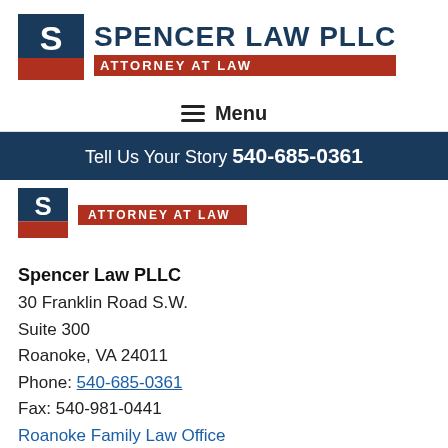[Figure (logo): Spencer Law PLLC logo with 'S' icon in blue/red square and text 'SPENCER LAW PLLC' with 'ATTORNEY AT LAW' subtitle bar]
Menu
Tell Us Your Story 540-685-0361
[Figure (logo): Partial Spencer Law PLLC logo showing 'S' icon and 'ATTORNEY AT LAW' subtitle bar]
Spencer Law PLLC
30 Franklin Road S.W.
Suite 300
Roanoke, VA 24011
Phone: 540-685-0361
Fax: 540-981-0441
Roanoke Family Law Office